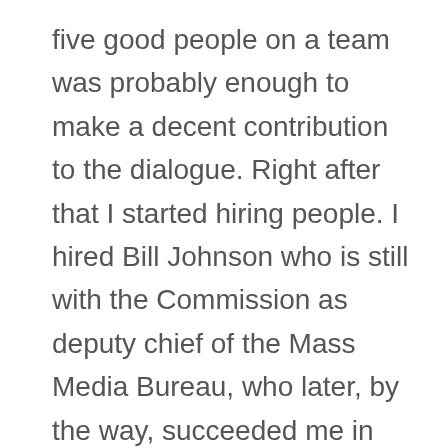five good people on a team was probably enough to make a decent contribution to the dialogue. Right after that I started hiring people. I hired Bill Johnson who is still with the Commission as deputy chief of the Mass Media Bureau, who later, by the way, succeeded me in the Cable Bureau. The task force later became the Cable Bureau. Steve Effros, I hired him because I had been told he had New York Times experience and I thought that would be good. Whether it was good or not I don't know but Steve turned out to be very useful. I had Bob Unger from another part